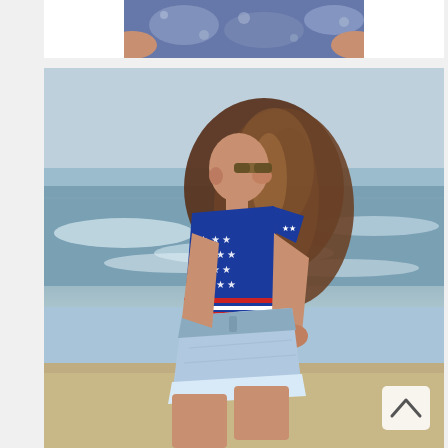[Figure (photo): Partial top photo showing a person from the torso/shoulders up wearing an acid-wash or patterned dark blue shirt, with hands on hips, against a white background.]
[Figure (photo): Main photo of a young woman standing sideways on a beach. She has long brown wavy hair flowing down her back, wearing sunglasses, a blue American flag stars-and-stripes crop top, and light acid-wash denim high-waisted shorts. The background shows a cloudy sky, ocean waves, and sandy beach. A white scroll-up arrow icon appears in the bottom-right corner of the image.]